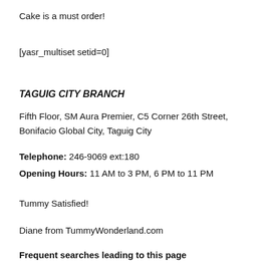Cake is a must order!
[yasr_multiset setid=0]
TAGUIG CITY BRANCH
Fifth Floor, SM Aura Premier, C5 Corner 26th Street, Bonifacio Global City, Taguig City
Telephone: 246-9069 ext:180
Opening Hours: 11 AM to 3 PM, 6 PM to 11 PM
Tummy Satisfied!
Diane from TummyWonderland.com
Frequent searches leading to this page